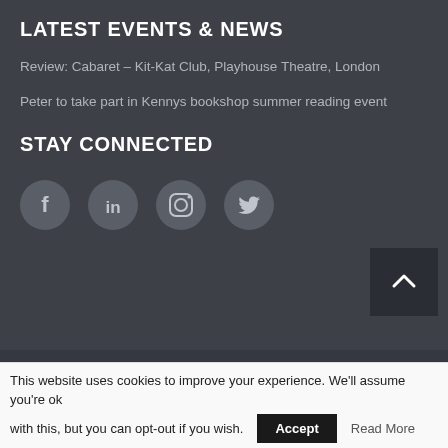LATEST EVENTS & NEWS
Review: Cabaret – Kit-Kat Club, Playhouse Theatre, London
Peter to take part in Kennys bookshop summer reading event
STAY CONNECTED
[Figure (infographic): Four circular social media icons: Facebook, LinkedIn, Instagram, Twitter]
© Copyright 2018 Peter Kennedy The Write Choice Ltd. All Rights Reserved. Company No 607644 Registered In Ireland. Registered Address: Tumnahulla, Corrandulla, Co. Galway. Website design by Rob & Paul.
About
Books
This website uses cookies to improve your experience. We'll assume you're ok with this, but you can opt-out if you wish.